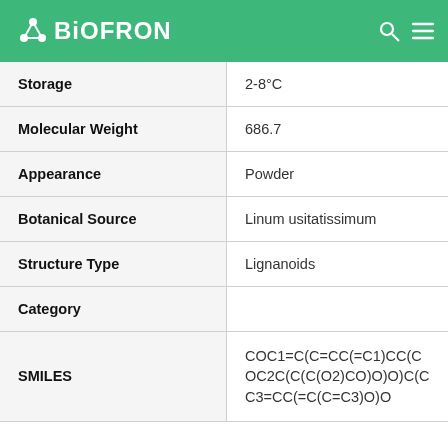BIOFRON
| Property | Value |
| --- | --- |
| Storage | 2-8°C |
| Molecular Weight | 686.7 |
| Appearance | Powder |
| Botanical Source | Linum usitatissimum |
| Structure Type | Lignanoids |
| Category |  |
| SMILES | COC1=C(C=CC(=C1)CC(COC2C(C(C(O2)CO)O)O)C(CC3=CC(=C(C=C3)O)O |